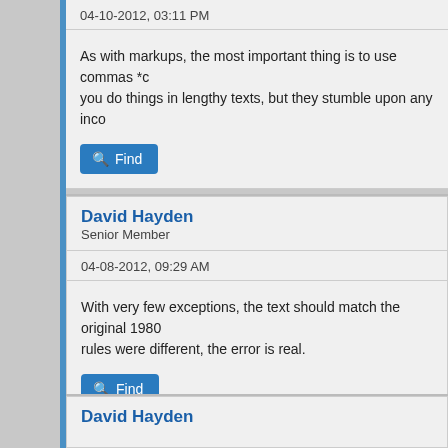04-10-2012, 03:11 PM
As with markups, the most important thing is to use commas *c you do things in lengthy texts, but they stumble upon any inco
[Figure (screenshot): Find button with magnifying glass icon]
David Hayden
Senior Member
04-08-2012, 09:29 AM
With very few exceptions, the text should match the original 1980 rules were different, the error is real.
[Figure (screenshot): Find button with magnifying glass icon]
David Hayden